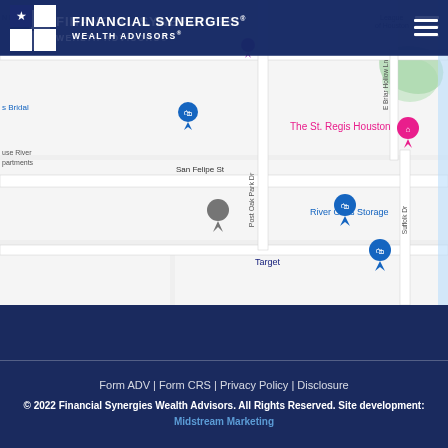FINANCIAL SYNERGIES® WEALTH ADVISORS
[Figure (map): Google Maps screenshot showing the area around The St. Regis Houston near San Felipe St and Post Oak Park Dr, with landmarks including River Oaks Storage, Target, and Junior League of Houston]
Form ADV | Form CRS | Privacy Policy | Disclosure
© 2022 Financial Synergies Wealth Advisors. All Rights Reserved. Site development: Midstream Marketing